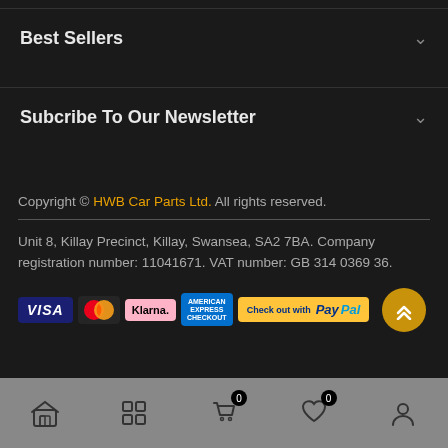Best Sellers
Subcribe To Our Newsletter
Copyright © HWB Car Parts Ltd. All rights reserved.
Unit 8, Killay Precinct, Killay, Swansea, SA2 7BA. Company registration number: 11041671. VAT number: GB 314 0369 36.
[Figure (logo): Payment method logos: VISA, Mastercard, Klarna, American Express, PayPal]
Bottom navigation bar with home, categories, cart (0), wishlist (0), and account icons